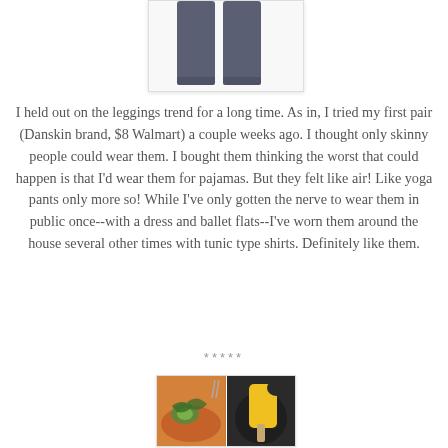[Figure (photo): Dark gray leggings product photo, cropped to show the lower leg portion against a white background, inside a bordered box]
I held out on the leggings trend for a long time. As in, I tried my first pair (Danskin brand, $8 Walmart) a couple weeks ago. I thought only skinny people could wear them. I bought them thinking the worst that could happen is that I'd wear them for pajamas. But they felt like air! Like yoga pants only more so! While I've only gotten the nerve to wear them in public once--with a dress and ballet flats--I've worn them around the house several other times with tunic type shirts. Definitely like them.
*****
[Figure (photo): Two food photos side by side: left shows a baked sweet potato topped with greens and avocado, right shows a yellow popsicle on a dark plate]